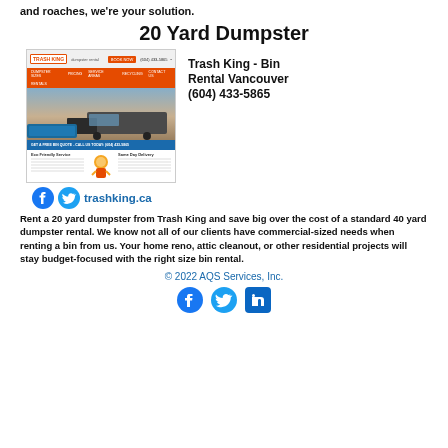and roaches, we're your solution.
20 Yard Dumpster
[Figure (screenshot): Screenshot of trashking.ca website showing orange header, navigation bar, image of dumpster truck, and content columns. Social media icons (Facebook, Twitter) and link to trashking.ca are shown below.]
Trash King - Bin Rental Vancouver (604) 433-5865
Rent a 20 yard dumpster from Trash King and save big over the cost of a standard 40 yard dumpster rental. We know not all of our clients have commercial-sized needs when renting a bin from us. Your home reno, attic cleanout, or other residential projects will stay budget-focused with the right size bin rental.
© 2022 AQS Services, Inc.